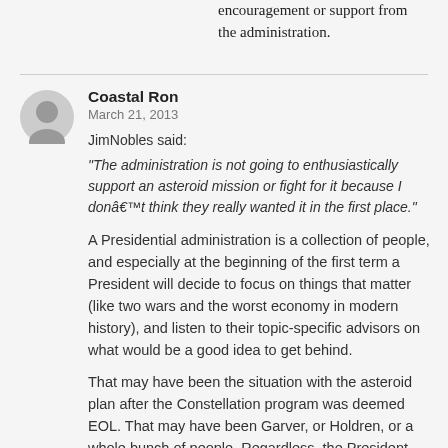I don't think they will get EITHER much encouragement or support from the administration.
Coastal Ron
March 21, 2013

JimNobles said:

"The administration is not going to enthusiastically support an asteroid mission or fight for it because I donâ€™t think they really wanted it in the first place."

A Presidential administration is a collection of people, and especially at the beginning of the first term a President will decide to focus on things that matter (like two wars and the worst economy in modern history), and listen to their topic-specific advisors on what would be a good idea to get behind.

That may have been the situation with the asteroid plan after the Constellation program was deemed EOL. That may have been Garver, or Holdren, or a whole bunch of people. Regardless, the President apparently agreed with it, and that became the standing orders